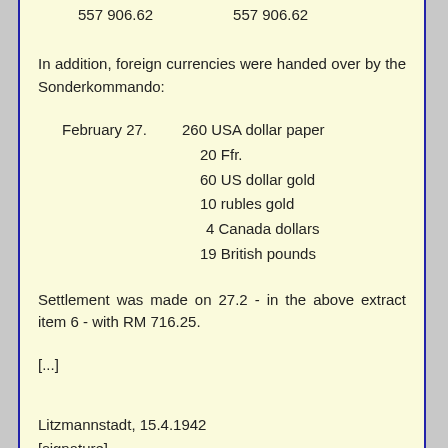557 906.62    557 906.62
In addition, foreign currencies were handed over by the Sonderkommando:
February 27.  260 USA dollar paper
20 Ffr.
60 US dollar gold
10 rubles gold
4 Canada dollars
19 British pounds
Settlement was made on 27.2 - in the above extract item 6 - with RM 716.25.
[...]
Litzmannstadt, 15.4.1942
[signature]